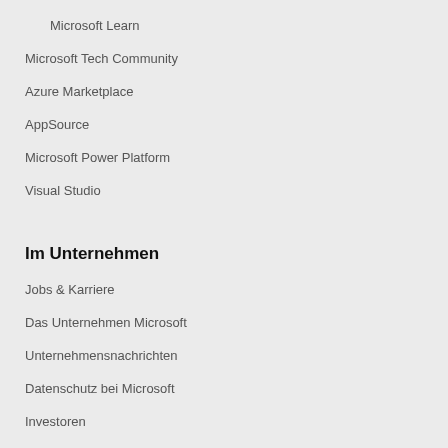Microsoft Learn
Microsoft Tech Community
Azure Marketplace
AppSource
Microsoft Power Platform
Visual Studio
Im Unternehmen
Jobs & Karriere
Das Unternehmen Microsoft
Unternehmensnachrichten
Datenschutz bei Microsoft
Investoren
Nachhaltigkeit